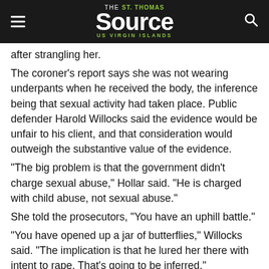THE St. Thomas Source US VIRGIN ISLANDS
after strangling her.
The coroner's report says she was not wearing underpants when he received the body, the inference being that sexual activity had taken place. Public defender Harold Willocks said the evidence would be unfair to his client, and that consideration would outweigh the substantive value of the evidence.
"The big problem is that the government didn't charge sexual abuse," Hollar said. "He is charged with child abuse, not sexual abuse."
She told the prosecutors, "You have an uphill battle."
"You have opened up a jar of butterflies," Willocks said. "The implication is that he lured her there with intent to rape. That's going to be inferred."
On the witness stand, Dr. Francisco Landron, medical